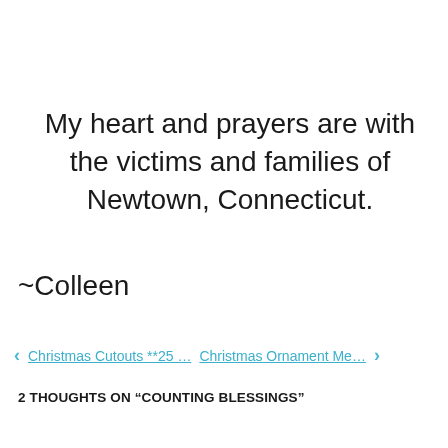My heart and prayers are with the victims and families of Newtown, Connecticut.
~Colleen
‹  Christmas Cutouts **25 …  Christmas Ornament Me…  ›
2 THOUGHTS ON “COUNTING BLESSINGS”